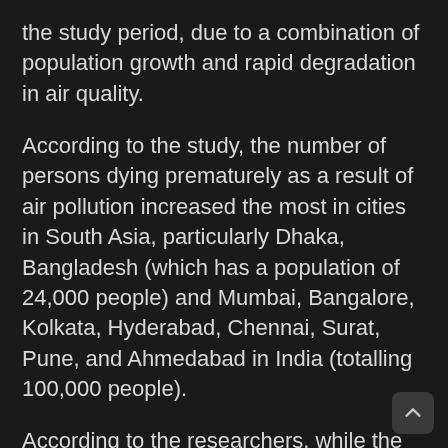the study period, due to a combination of population growth and rapid degradation in air quality.
According to the study, the number of persons dying prematurely as a result of air pollution increased the most in cities in South Asia, particularly Dhaka, Bangladesh (which has a population of 24,000 people) and Mumbai, Bangalore, Kolkata, Hyderabad, Chennai, Surat, Pune, and Ahmedabad in India (totalling 100,000 people).
According to the researchers, while the number of deaths in African tropical cities is currently lower as a result of recent improvements in healthcare across the continent, which has resulted in a decrease in overall premature mortality, the worst effects of air